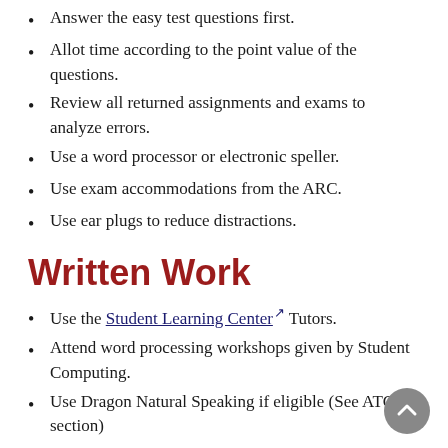Answer the easy test questions first.
Allot time according to the point value of the questions.
Review all returned assignments and exams to analyze errors.
Use a word processor or electronic speller.
Use exam accommodations from the ARC.
Use ear plugs to reduce distractions.
Written Work
Use the Student Learning Center [external link] Tutors.
Attend word processing workshops given by Student Computing.
Use Dragon Natural Speaking if eligible (See ATC section)
Be sure to understand the writing assignment; do not guess or assume about what is required.
Time Management
Attend time management workshop at the Student...